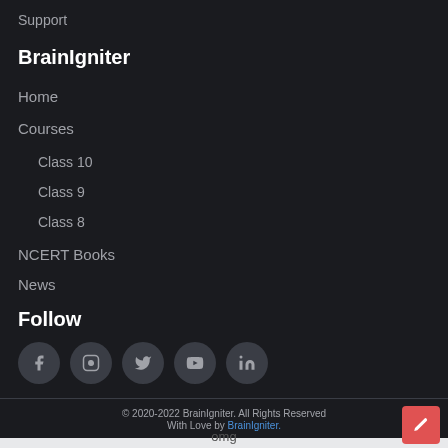Support
BrainIgniter
Home
Courses
Class 10
Class 9
Class 8
NCERT Books
News
Follow
[Figure (illustration): Five circular social media icon buttons in dark grey]
© 2020-2022 BrainIgniter. All Rights Reserved With Love by BrainIgniter.
omg